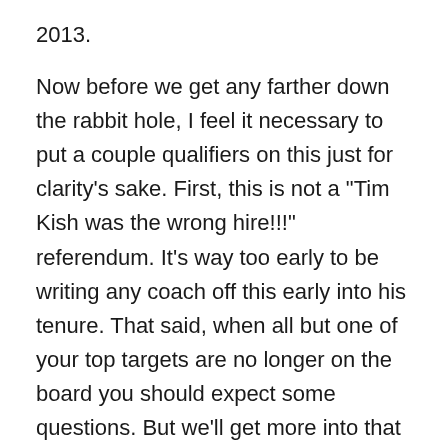2013.
Now before we get any farther down the rabbit hole, I feel it necessary to put a couple qualifiers on this just for clarity's sake. First, this is not a "Tim Kish was the wrong hire!!!" referendum. It's way too early to be writing any coach off this early into his tenure. That said, when all but one of your top targets are no longer on the board you should expect some questions. But we'll get more into that in a minute. Second, this is in no way meant to reflect negatively on the one linebacker commitment the Sooners currently hold in the form of Jordan Mastrogiovanni. He's definitely a quality recruit who projects very well in Mike Stoops' system with his athleticism and size.
Okay now that we got that out of the way, let's